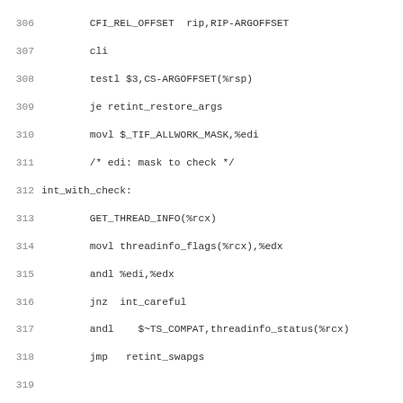[Figure (screenshot): Assembly/C code listing with line numbers 306-338 showing x86-64 assembly interrupt handling code including int_with_check, int_careful, and int_very_careful labels]